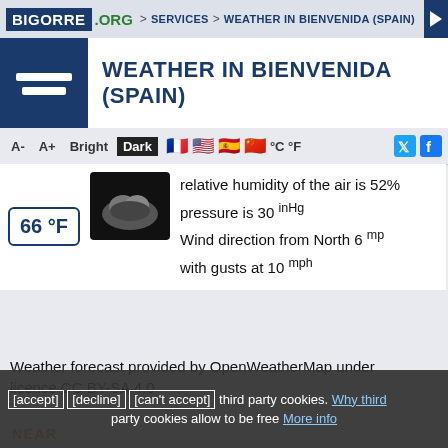BIGORRE .ORG > Services > Weather in Bienvenida (Spain)
Weather in Bienvenida (Spain)
A- A+ Bright Dark °C °F
relative humidity of the air is 52%
pressure is 30 inHg
Wind direction from North 6 mph with gusts at 10 mph
Weather forecast provided by OpenWeatherMap under licence CC BY-SA 4.0
NEAR
Nearest hotels
Hotels in Bienvenida
for Aeródromo Virgen de La Estrella airport in 11 mi
for Altarcico Guadalcanal airport in 20 mi
[accept] [decline] [can't accept] third party cookies. Why third party cookies allow to be free More info